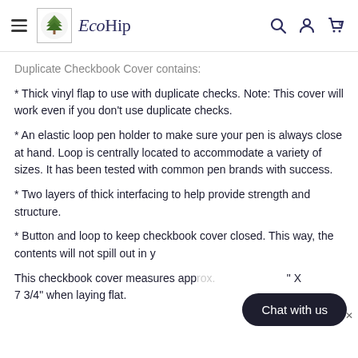EcoHip — navigation header with hamburger menu, logo, search, account, and cart icons
Duplicate Checkbook Cover contains:
* Thick vinyl flap to use with duplicate checks. Note: This cover will work even if you don't use duplicate checks.
* An elastic loop pen holder to make sure your pen is always close at hand. Loop is centrally located to accommodate a variety of sizes. It has been tested with common pen brands with success.
* Two layers of thick interfacing to help provide strength and structure.
* Button and loop to keep checkbook cover closed. This way, the contents will not spill out in y
This checkbook cover measures app [obscured] X 7 3/4" when laying flat.